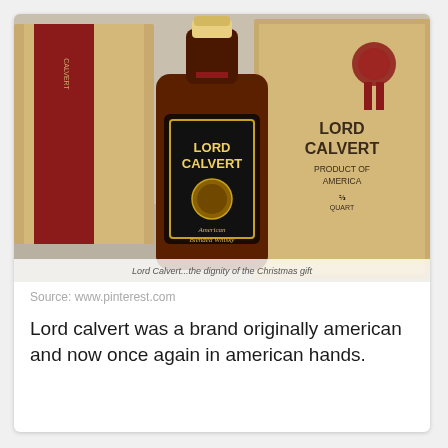[Figure (photo): Vintage advertisement photo of Lord Calvert American Blended Whisky bottle in a wood gift box. The dark amber bottle has a black label with gold text reading LORD CALVERT and American Blended Whisky. Behind it is a wooden gift box with LORD CALVERT PRODUCT OF AMERICA text and a red wax seal ribbon. Partial caption text visible at bottom: 'Lord Calvert...the dignity of the Christmas gift']
Source: www.pinterest.com
Lord calvert was a brand originally american and now once again in american hands.